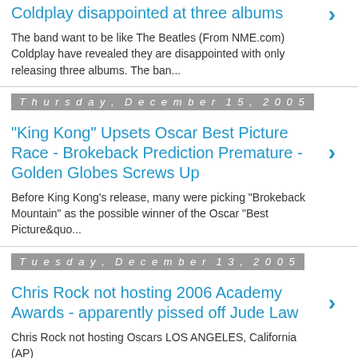Coldplay disappointed at three albums
The band want to be like The Beatles (From NME.com) Coldplay have revealed they are disappointed with only releasing three albums. The ban...
Thursday, December 15, 2005
"King Kong" Upsets Oscar Best Picture Race - Brokeback Prediction Premature - Golden Globes Screws Up
Before King Kong's release, many were picking "Brokeback Mountain" as the possible winner of the Oscar "Best Picture&quo...
Tuesday, December 13, 2005
Chris Rock not hosting 2006 Academy Awards - apparently pissed off Jude Law
Chris Rock not hosting Oscars LOS ANGELES, California (AP)